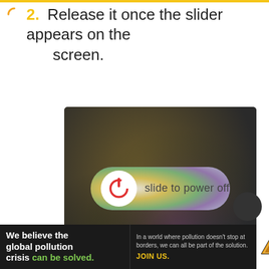2. Release it once the slider appears on the screen.
[Figure (screenshot): iPhone 'slide to power off' screen showing a dark blurred background with a rounded slider control at the top containing a red power icon and the text 'slide to power off']
[Figure (other): Pure Earth advertisement banner: 'We believe the global pollution crisis can be solved. In a world where pollution doesn't stop at borders, we can all be part of the solution. JOIN US.' with Pure Earth logo on the right.]